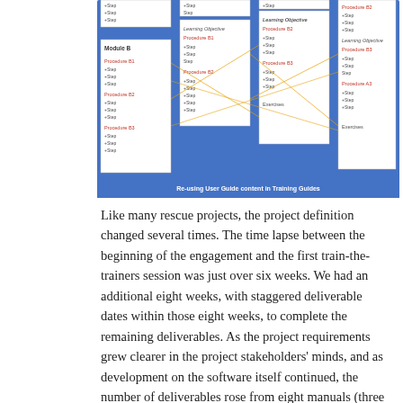[Figure (flowchart): Diagram titled 'Re-using User Guide content in Training Guides' showing a blue background flowchart with multiple white boxes containing Module B with Procedure B1, B2, B3 steps on the left, Learning Objective boxes with Procedure B1, B2 in the center-left, Learning Objective box with Procedure B2, B3 and Exercises in center, and a right column with Procedure B2 steps, Learning Objective Procedure B3, Procedure A3 steps, and Exercises. Orange lines cross-connect the boxes.]
Like many rescue projects, the project definition changed several times. The time lapse between the beginning of the engagement and the first train-the-trainers session was just over six weeks. We had an additional eight weeks, with staggered deliverable dates within those eight weeks, to complete the remaining deliverables. As the project requirements grew clearer in the project stakeholders' minds, and as development on the software itself continued, the number of deliverables rose from eight manuals (three instructor guides, three